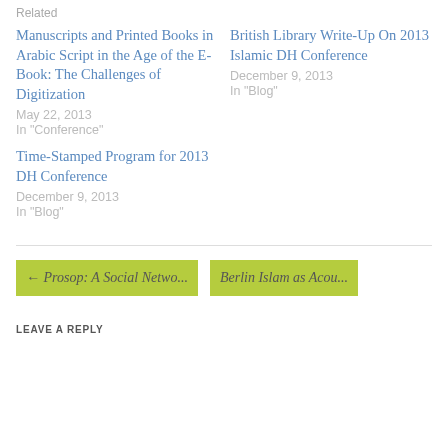Related
Manuscripts and Printed Books in Arabic Script in the Age of the E-Book: The Challenges of Digitization
May 22, 2013
In "Conference"
British Library Write-Up On 2013 Islamic DH Conference
December 9, 2013
In "Blog"
Time-Stamped Program for 2013 DH Conference
December 9, 2013
In "Blog"
← Prosop: A Social Netwo...
Berlin Islam as Acou...
LEAVE A REPLY